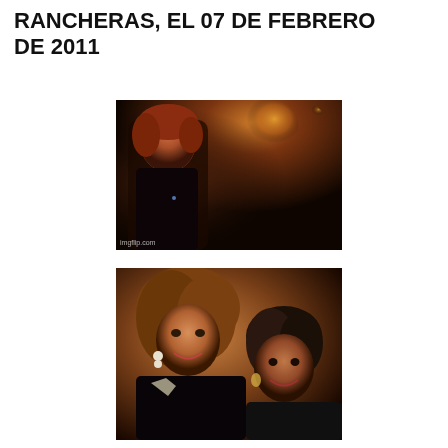RANCHERAS, EL 07 DE FEBRERO DE 2011
[Figure (photo): Dark indoor photo of a woman with reddish hair wearing black, with warm glowing lights in background. Watermark: imgflip.com]
[Figure (photo): Photo of two women smiling together, one with voluminous brown hair and large earrings, the other with shorter dark hair]